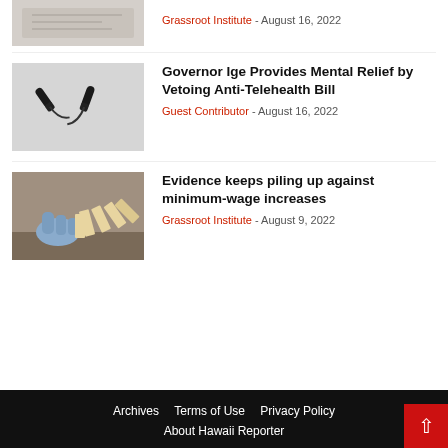[Figure (photo): Partial view of a top article thumbnail (cropped at top of page)]
Grassroot Institute - August 16, 2022
[Figure (photo): Two old-fashioned telephone handsets on a gray background representing anti-telehealth bill article]
Governor Ige Provides Mental Relief by Vetoing Anti-Telehealth Bill
Guest Contributor - August 16, 2022
[Figure (photo): Person's hand stopping falling dominoes representing minimum wage article]
Evidence keeps piling up against minimum-wage increases
Grassroot Institute - August 9, 2022
Archives   Terms of Use   Privacy Policy   About Hawaii Reporter